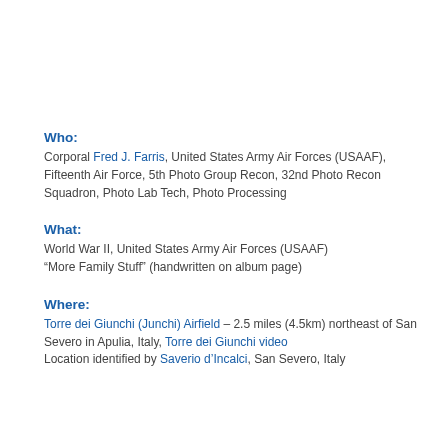Who:
Corporal Fred J. Farris, United States Army Air Forces (USAAF), Fifteenth Air Force, 5th Photo Group Recon, 32nd Photo Recon Squadron, Photo Lab Tech, Photo Processing
What:
World War II, United States Army Air Forces (USAAF) “More Family Stuff” (handwritten on album page)
Where:
Torre dei Giunchi (Junchi) Airfield – 2.5 miles (4.5km) northeast of San Severo in Apulia, Italy, Torre dei Giunchi video Location identified by Saverio d’Incalci, San Severo, Italy